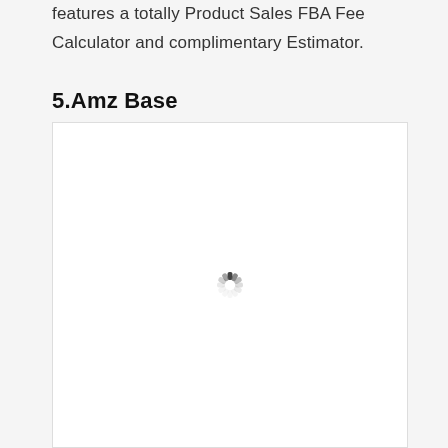features a totally Product Sales FBA Fee Calculator and complimentary Estimator.
5.Amz Base
[Figure (screenshot): A white image panel with a loading spinner (animated circular dashes) centered in the middle, indicating content is loading.]